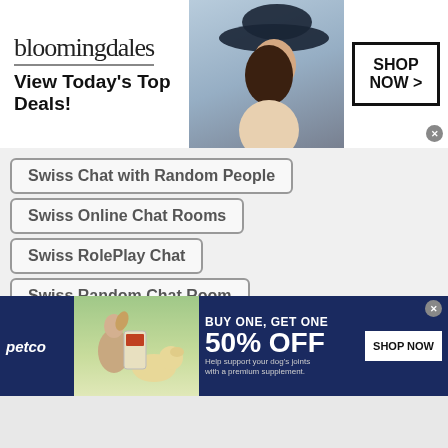[Figure (screenshot): Bloomingdale's advertisement banner: logo, 'View Today's Top Deals!', model in hat, SHOP NOW button]
Swiss Chat with Random People
Swiss Online Chat Rooms
Swiss RolePlay Chat
Swiss Random Chat Room
Swiss Chat for Free
Swiss Online Free Call
Swiss Omegle Teen
Swiss Call
Swiss Senior Chat
Swiss Free Text
[Figure (screenshot): Petco advertisement banner: BUY ONE GET ONE 50% OFF, dog supplement product, SHOP NOW button]